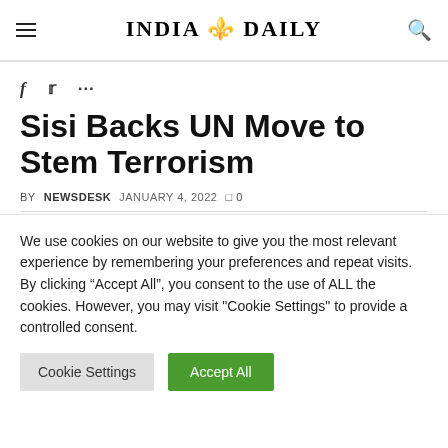INDIA DAILY
f  ·  🐦  ·  ...
Sisi Backs UN Move to Stem Terrorism
BY NEWSDESK   JANUARY 4, 2022   □ 0
We use cookies on our website to give you the most relevant experience by remembering your preferences and repeat visits. By clicking "Accept All", you consent to the use of ALL the cookies. However, you may visit "Cookie Settings" to provide a controlled consent.